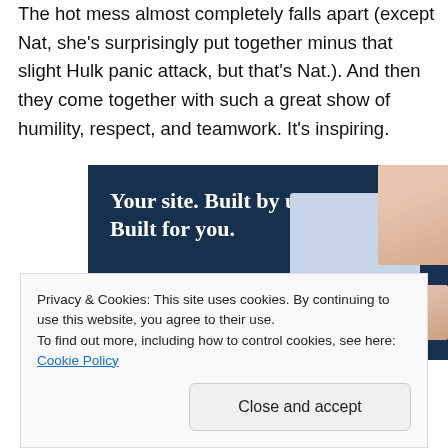The hot mess almost completely falls apart (except Nat, she's surprisingly put together minus that slight Hulk panic attack, but that's Nat.). And then they come together with such a great show of humility, respect, and teamwork. It's inspiring.
[Figure (illustration): Advertisement banner with dark navy background. Text reads 'Your site. Built by us. Built for you.' with a 'Get a quote now' button. Right side shows website mockup images with fashion photos.]
Privacy & Cookies: This site uses cookies. By continuing to use this website, you agree to their use.
To find out more, including how to control cookies, see here: Cookie Policy
Close and accept